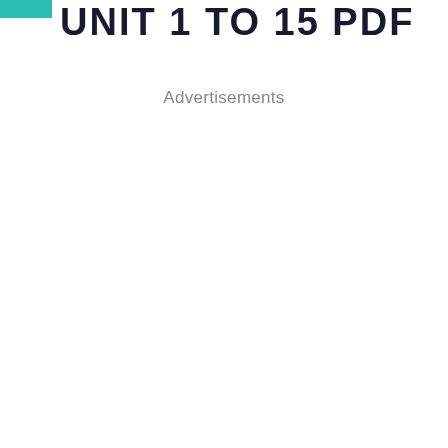UNIT 1 TO 15 PDF
Advertisements